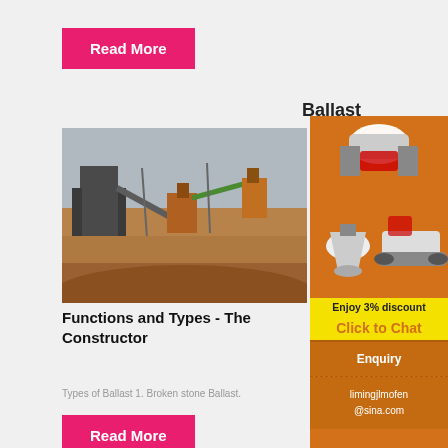[Figure (other): Pink 'Read More' button at top]
[Figure (photo): Photograph of a quarry/ballast crushing plant with machinery, conveyor belts, and dirt terrain under an overcast sky]
Functions and Types - The Constructor
Types of Ballast 1. Broken stone Ballast.
[Figure (infographic): Orange advertisement sidebar with mining/crushing machines, 'Enjoy 3% discount', 'Click to Chat', 'Enquiry', and 'limingjlmofen@sina.com']
[Figure (other): Pink 'Read More' button at bottom]